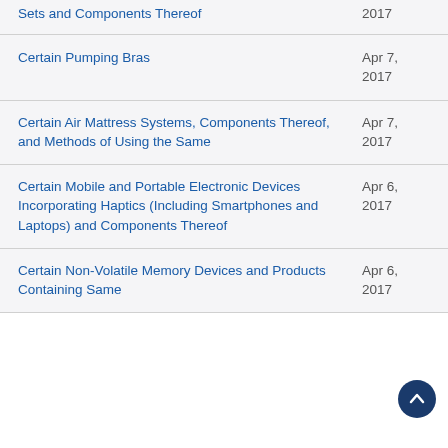Sets and Components Thereof
Certain Pumping Bras
Certain Air Mattress Systems, Components Thereof, and Methods of Using the Same
Certain Mobile and Portable Electronic Devices Incorporating Haptics (Including Smartphones and Laptops) and Components Thereof
Certain Non-Volatile Memory Devices and Products Containing Same